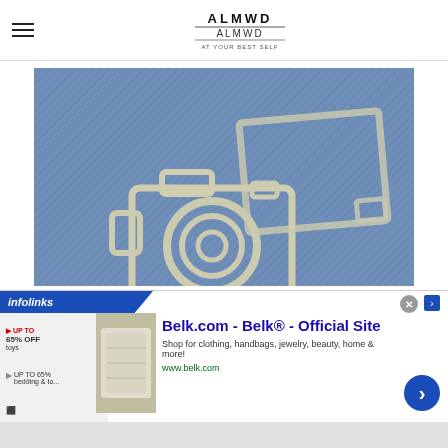ALMWD / ALMWD — At Your Best Self
[Figure (photo): Embroidered camera and photo frame design stitched in white/silver thread on blue denim fabric background]
[Figure (infographic): Infolinks advertisement banner showing Belk.com - Belk Official Site ad with text: Shop for clothing, handbags, jewelry, beauty, home & more! www.belk.com]